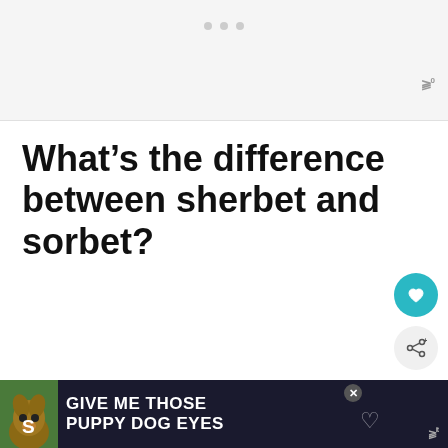[Figure (other): Gray advertisement banner placeholder at top of page with three dots]
What’s the difference between sherbet and sorbet?
The difference between sherbet and sorbet is the presence of dairy products.
[Figure (other): What's Next panel showing 'Is Sorbet Dairy-free?' with thumbnail image]
[Figure (other): Advertisement banner at bottom: GIVE ME THOSE PUPPY DOG EYES with dog image]